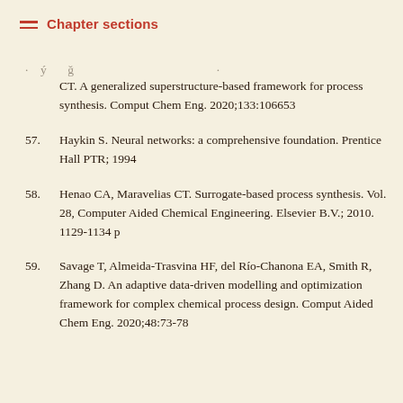Chapter sections
CT. A generalized superstructure-based framework for process synthesis. Comput Chem Eng. 2020;133:106653
57. Haykin S. Neural networks: a comprehensive foundation. Prentice Hall PTR; 1994
58. Henao CA, Maravelias CT. Surrogate-based process synthesis. Vol. 28, Computer Aided Chemical Engineering. Elsevier B.V.; 2010. 1129-1134 p
59. Savage T, Almeida-Trasvina HF, del Río-Chanona EA, Smith R, Zhang D. An adaptive data-driven modelling and optimization framework for complex chemical process design. Comput Aided Chem Eng. 2020;48:73-78